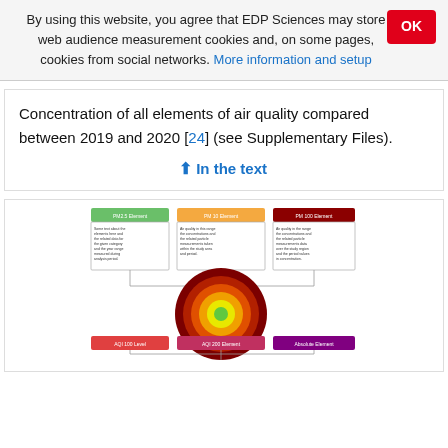By using this website, you agree that EDP Sciences may store web audience measurement cookies and, on some pages, cookies from social networks. More information and setup
Concentration of all elements of air quality compared between 2019 and 2020 [24] (see Supplementary Files).
↑ In the text
[Figure (flowchart): A flowchart/infographic diagram with colored boxes connected by lines, and a large concentric-circle target graphic (bullseye) in the center. The boxes appear to contain text about air quality elements. The top row has three colored header boxes (green, orange, red/dark) with text below them, and the bottom row has similar boxes.]